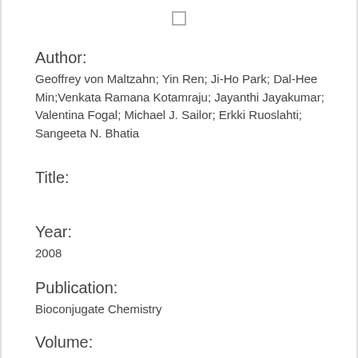[Figure (other): Small checkbox or square icon at the top center of the page]
Author:
Geoffrey von Maltzahn; Yin Ren; Ji-Ho Park; Dal-Hee Min;Venkata Ramana Kotamraju; Jayanthi Jayakumar; Valentina Fogal; Michael J. Sailor; Erkki Ruoslahti; Sangeeta N. Bhatia
Title:
Year:
2008
Publication:
Bioconjugate Chemistry
Volume:
19